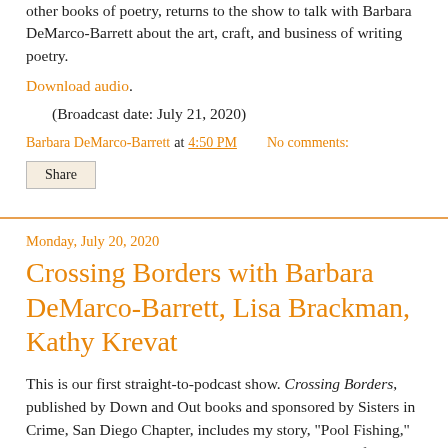other books of poetry, returns to the show to talk with Barbara DeMarco-Barrett about the art, craft, and business of writing poetry.
Download audio.
(Broadcast date: July 21, 2020)
Barbara DeMarco-Barrett at 4:50 PM    No comments:
Share
Monday, July 20, 2020
Crossing Borders with Barbara DeMarco-Barrett, Lisa Brackman, Kathy Krevat
This is our first straight-to-podcast show. Crossing Borders, published by Down and Out books and sponsored by Sisters in Crime, San Diego Chapter, includes my story, "Pool Fishing," and a story by guest Kathy Krevat. Joining us is one of the anthology's editors, Lisa Brackman. We'll discuss